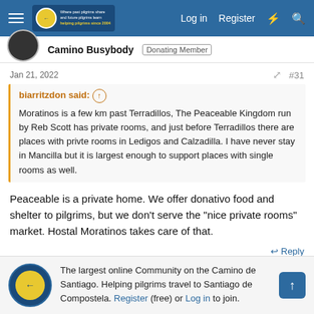Log in  Register
Camino Busybody  Donating Member
Jan 21, 2022  #31
biarritzdon said: ↑  Moratinos is a few km past Terradillos, The Peaceable Kingdom run by Reb Scott has private rooms, and just before Terradillos there are places with privte rooms in Ledigos and Calzadilla. I have never stay in Mancilla but it is largest enough to support places with single rooms as well.
Peaceable is a private home. We offer donativo food and shelter to pilgrims, but we don't serve the "nice private rooms" market. Hostal Moratinos takes care of that.
↩ Reply
The largest online Community on the Camino de Santiago. Helping pilgrims travel to Santiago de Compostela. Register (free) or Log in to join.